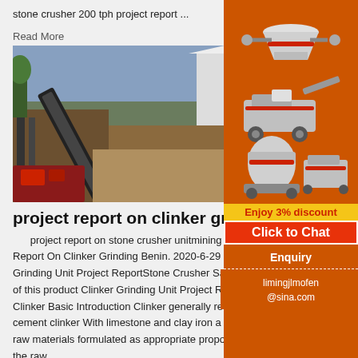stone crusher 200 tph project report ...
Read More
[Figure (photo): Outdoor photo of a stone crusher / conveyor belt industrial plant setup on a hillside]
project report on clinker grinding be
project report on stone crusher unitmining ... Report On Clinker Grinding Benin. 2020-6-29 Grinding Unit Project ReportStone Crusher Sa... of this product Clinker Grinding Unit Project R... Clinker Basic Introduction Clinker generally re... cement clinker With limestone and clay iron a... raw materials formulated as appropriate propo... the raw ...
Read More
[Figure (photo): Blue colored machinery or site image, partially visible at bottom]
[Figure (infographic): Sidebar advertisement with orange background showing mining/crushing machinery images, Enjoy 3% discount text, Click to Chat button, Enquiry link, and limingjlmofen@sina.com contact]